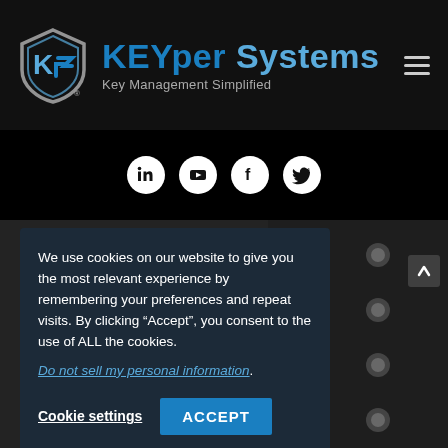[Figure (logo): KEYper Systems logo with shield icon on dark background, text reads KEYper Systems / Key Management Simplified]
[Figure (infographic): Four white circular social media icons (LinkedIn, YouTube, Facebook, Twitter) on black background]
[Figure (photo): Key management cabinet with keys, partially visible on right side. Letter A visible in lower area.]
We use cookies on our website to give you the most relevant experience by remembering your preferences and repeat visits. By clicking “Accept”, you consent to the use of ALL the cookies.
Do not sell my personal information.
Cookie settings
ACCEPT